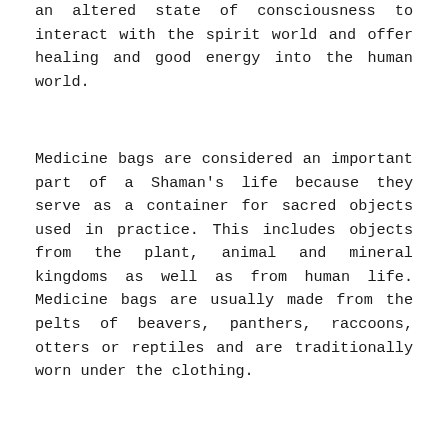an altered state of consciousness to interact with the spirit world and offer healing and good energy into the human world.
Medicine bags are considered an important part of a Shaman's life because they serve as a container for sacred objects used in practice. This includes objects from the plant, animal and mineral kingdoms as well as from human life. Medicine bags are usually made from the pelts of beavers, panthers, raccoons, otters or reptiles and are traditionally worn under the clothing.